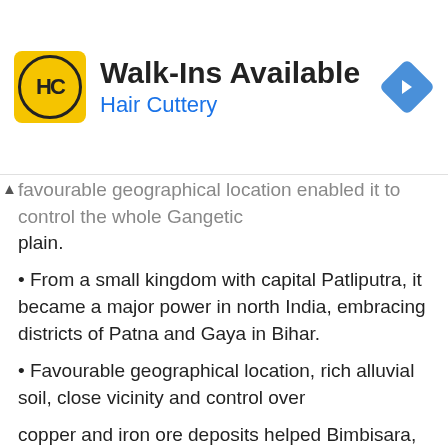[Figure (other): Advertisement banner: Hair Cuttery 'Walk-Ins Available' ad with HC logo and navigation icon]
favourable geographical location enabled it to control the whole Gangetic plain.
• From a small kingdom with capital Patliputra, it became a major power in north India, embracing districts of Patna and Gaya in Bihar.
• Favourable geographical location, rich alluvial soil, close vicinity and control over copper and iron ore deposits helped Bimbisara, its fi rst